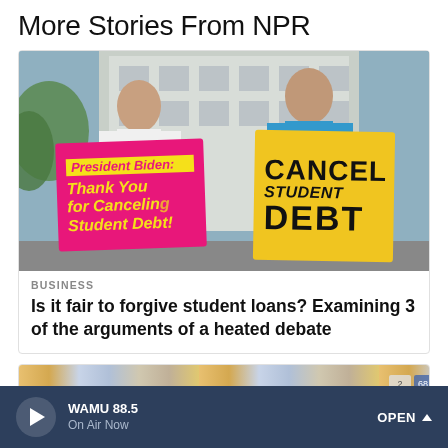More Stories From NPR
[Figure (photo): Two people holding protest signs about student debt cancellation. The person on the left holds a pink sign reading 'President Biden: Thank You for Canceling Student Debt!' and the person on the right holds a yellow sign reading 'CANCEL STUDENT DEBT'. They are standing in front of a white building.]
BUSINESS
Is it fair to forgive student loans? Examining 3 of the arguments of a heated debate
[Figure (photo): Partial view of a second story card with a colorful banner image at the bottom of the page.]
WAMU 88.5
On Air Now
OPEN ^